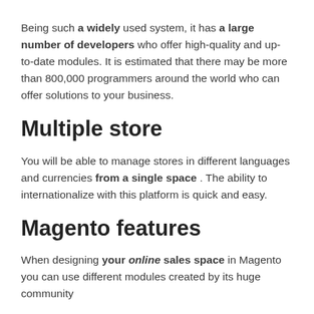Being such a widely used system, it has a large number of developers who offer high-quality and up-to-date modules. It is estimated that there may be more than 800,000 programmers around the world who can offer solutions to your business.
Multiple store
You will be able to manage stores in different languages and currencies from a single space . The ability to internationalize with this platform is quick and easy.
Magento features
When designing your online sales space in Magento you can use different modules created by its huge community